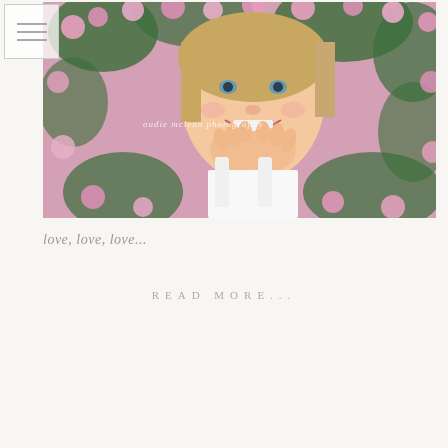[Figure (photo): Young smiling girl with short blonde hair, wearing a white sleeveless top, hands clasped near her face, posed in front of pink flowers (petunias) with green foliage. Watermark reads 'audie mclean photography'.]
love, love, love...
READ MORE...